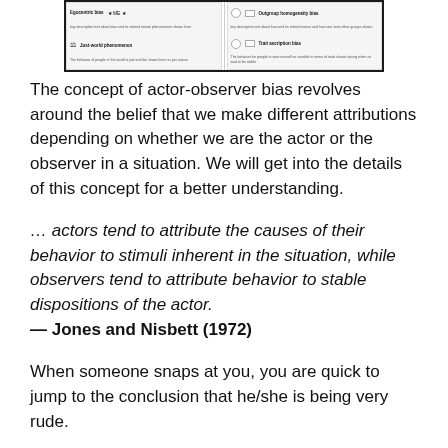[Figure (screenshot): Partial screenshot of a diagram showing cognitive biases including Egocentric bias, Just-world phenomenon, Outgroup homogeneity bias, and Trait ascription bias with icons.]
The concept of actor-observer bias revolves around the belief that we make different attributions depending on whether we are the actor or the observer in a situation. We will get into the details of this concept for a better understanding.
… actors tend to attribute the causes of their behavior to stimuli inherent in the situation, while observers tend to attribute behavior to stable dispositions of the actor.
— Jones and Nisbett (1972)
When someone snaps at you, you are quick to jump to the conclusion that he/she is being very rude.
The person's behavior might be attributed to the fact that he is having a bad day, but it's unly that you will take that into consideration.